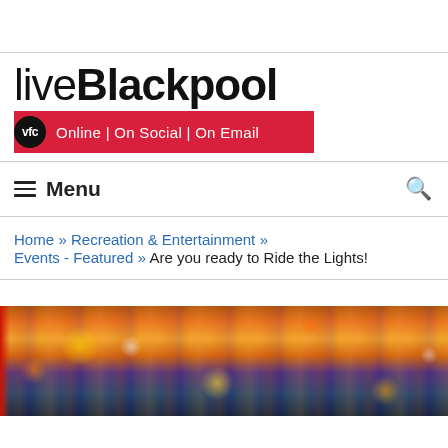[Figure (logo): liveBlackpool logo with VFC circle badge and red tagline bar reading 'Online | On Social | On Email']
≡ Menu
Home » Recreation & Entertainment » Events - Featured » Are you ready to Ride the Lights!
[Figure (photo): Night-time photo of a lit-up fairground and city street scene with bright neon signs and rides]